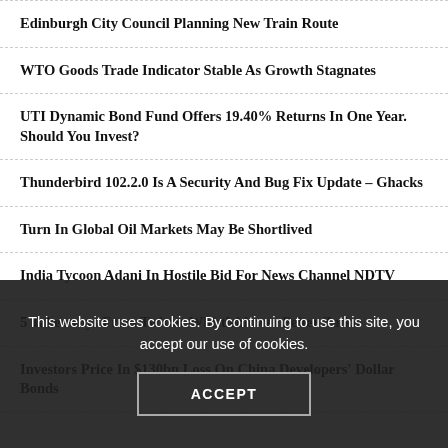Edinburgh City Council Planning New Train Route
WTO Goods Trade Indicator Stable As Growth Stagnates
UTI Dynamic Bond Fund Offers 19.40% Returns In One Year. Should You Invest?
Thunderbird 102.2.0 Is A Security And Bug Fix Update – Ghacks
Turn In Global Oil Markets May Be Shortlived
India Tycoon Adani In Hostile Bid For News Channel NDTV
5 Takeaways From Twitter Whistleblower Peiter Zatko
Investors Price In $130bn Loss On China Developers' Dollar Bonds
This website uses cookies. By continuing to use this site, you accept our use of cookies.
ACCEPT